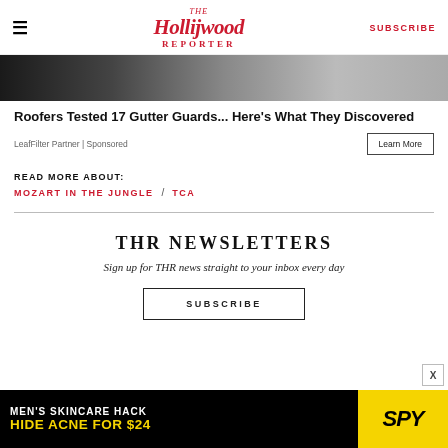The Hollywood Reporter | SUBSCRIBE
[Figure (photo): Partial image strip showing dark and light textures, appears to be top of an article image]
Roofers Tested 17 Gutter Guards... Here's What They Discovered
LeafFilter Partner | Sponsored
READ MORE ABOUT:
MOZART IN THE JUNGLE / TCA
THR NEWSLETTERS
Sign up for THR news straight to your inbox every day
SUBSCRIBE
[Figure (infographic): Advertisement banner: MEN'S SKINCARE HACK HIDE ACNE FOR $24 with SPY logo on yellow background]